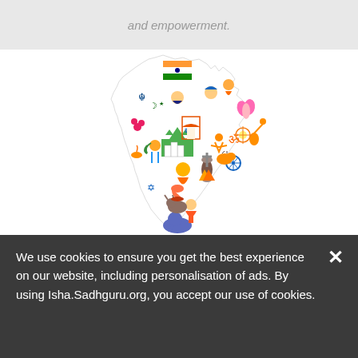and empowerment.
[Figure (illustration): Colorful flat-design illustration of India map shape filled with cultural, religious, and national symbols including the Indian flag, Taj Mahal, lotus, temples, people in traditional dress, animals, musical instruments, yoga pose, elephant, and various regional icons.]
We use cookies to ensure you get the best experience on our website, including personalisation of ads. By using Isha.Sadhguru.org, you accept our use of cookies.